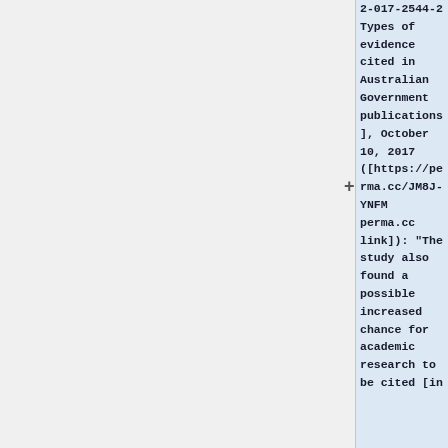2-017-2544-2 Types of evidence cited in Australian Government publications], October 10, 2017 ([https://perma.cc/JM8J-YNFM perma.cc link]): "The study also found a possible increased chance for academic research to be cited [in